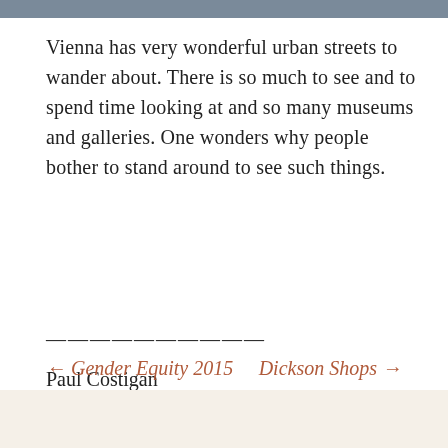[Figure (photo): Partial photo strip at the top of the page showing an urban street scene]
Vienna has very wonderful urban streets to wander about. There is so much to see and to spend time looking at and so many museums and galleries. One wonders why people bother to stand around to see such things.
——————————
Paul Costigan
← Gender Equity 2015    Dickson Shops →